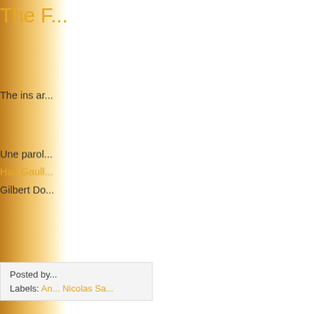The F...
The ins ar...
Une parol...
Has Gaull...
Gilbert Do...
Posted by...
Labels: An... Nicolas Sa...
Cathy...
Are... aro... like... IMM... inte...
Wh...